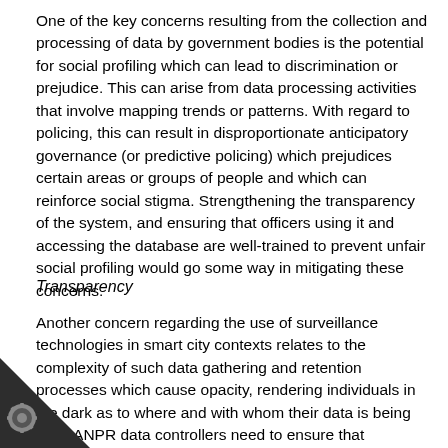One of the key concerns resulting from the collection and processing of data by government bodies is the potential for social profiling which can lead to discrimination or prejudice. This can arise from data processing activities that involve mapping trends or patterns. With regard to policing, this can result in disproportionate anticipatory governance (or predictive policing) which prejudices certain areas or groups of people and which can reinforce social stigma. Strengthening the transparency of the system, and ensuring that officers using it and accessing the database are well-trained to prevent unfair social profiling would go some way in mitigating these concerns.
Transparency
Another concern regarding the use of surveillance technologies in smart city contexts relates to the complexity of such data gathering and retention processes which cause opacity, rendering individuals in the dark as to where and with whom their data is being held. ANPR data controllers need to ensure that individuals are able to readily access information regarding where and with whom, and for how
[Figure (other): Corner watermark/decoration: dark triangle in bottom-left corner with a gear/cog icon badge]